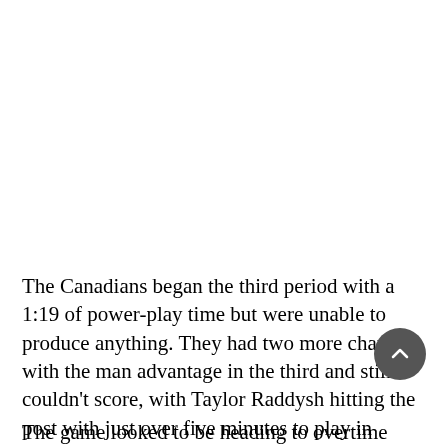The Canadians began the third period with a 1:19 of power-play time but were unable to produce anything. They had two more chances with the man advantage in the third and still couldn't score, with Taylor Raddysh hitting the post with just over five minutes to play in regulation.
The game looked to be heading to overtime before